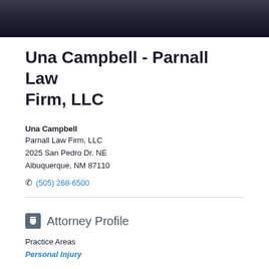[Figure (photo): Partial photo of Una Campbell against a dark background, cropped at shoulders/neck area]
Una Campbell - Parnall Law Firm, LLC
Una Campbell
Parnall Law Firm, LLC
2025 San Pedro Dr. NE
Albuquerque, NM 87110
✆ (505) 268-6500
Attorney Profile
Practice Areas
Personal Injury